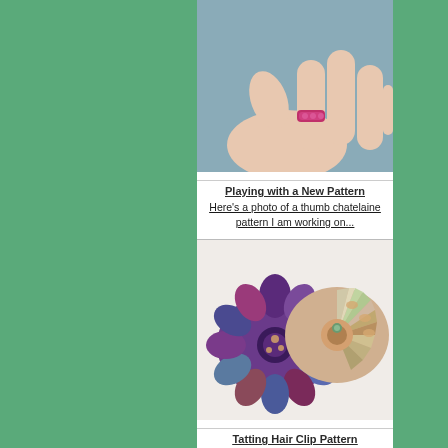[Figure (photo): A hand wearing a pink/magenta crocheted or tatted ring on the finger, shown against a blue-grey background]
Playing with a New Pattern
Here's a photo of a thumb chatelaine pattern I am working on...
[Figure (photo): Two decorative fabric yo-yo / tatted lace flower hair clips in purple/blue and multicolor pastel tones on a white lace background]
Tatting Hair Clip Pattern
Here is a pattern for a cute girl's hair barrette with a tat...